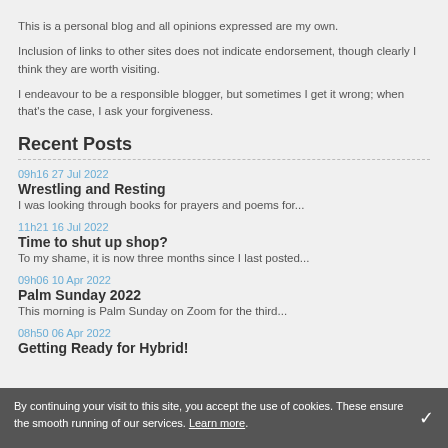This is a personal blog and all opinions expressed are my own.
Inclusion of links to other sites does not indicate endorsement, though clearly I think they are worth visiting.
I endeavour to be a responsible blogger, but sometimes I get it wrong; when that's the case, I ask your forgiveness.
Recent Posts
09h16 27 Jul 2022
Wrestling and Resting
I was looking through books for prayers and poems for...
11h21 16 Jul 2022
Time to shut up shop?
To my shame, it is now three months since I last posted...
09h06 10 Apr 2022
Palm Sunday 2022
This morning is Palm Sunday on Zoom for the third...
08h50 06 Apr 2022
Getting Ready for Hybrid!
By continuing your visit to this site, you accept the use of cookies. These ensure the smooth running of our services. Learn more.